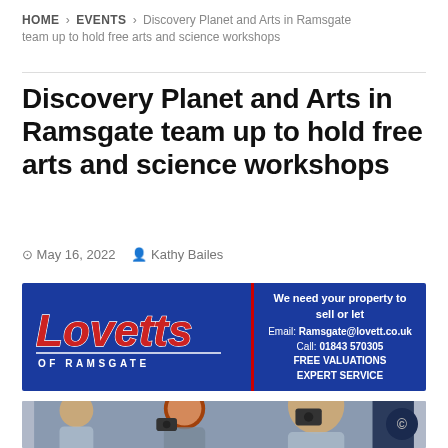HOME > EVENTS > Discovery Planet and Arts in Ramsgate team up to hold free arts and science workshops
Discovery Planet and Arts in Ramsgate team up to hold free arts and science workshops
May 16, 2022  Kathy Bailes
[Figure (other): Lovetts of Ramsgate advertisement banner. Blue background with red 'Lovetts' italic logo on the left, 'OF RAMSGATE' subtitle and 'Passionate About Property' tagline. Right side: 'We need your property to sell or let. Email: Ramsgate@lovett.co.uk. Call: 01843 570305. FREE VALUATIONS. EXPERT SERVICE.']
[Figure (photo): Children looking through cameras or viewfinders in a classroom or workshop setting. Several children visible with red/auburn hair prominent in foreground.]